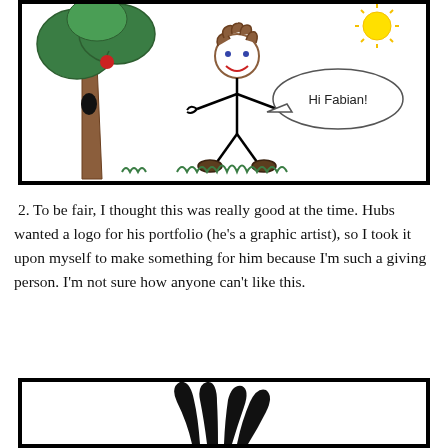[Figure (illustration): Child-like drawing showing a tree with an apple, a stick figure person with curly hair, a speech bubble saying 'Hi Fabian!', a sun in the upper right, and grass at the bottom. Drawn in a simple style with black outlines, green tree, brown trunk, yellow sun, and simple colored details.]
2. To be fair, I thought this was really good at the time. Hubs wanted a logo for his portfolio (he's a graphic artist), so I took it upon myself to make something for him because I'm such a giving person. I'm not sure how anyone can't like this.
[Figure (illustration): Bottom portion of an image showing large black stylized claw or feather shapes against a white background, partially cropped at the bottom of the page.]